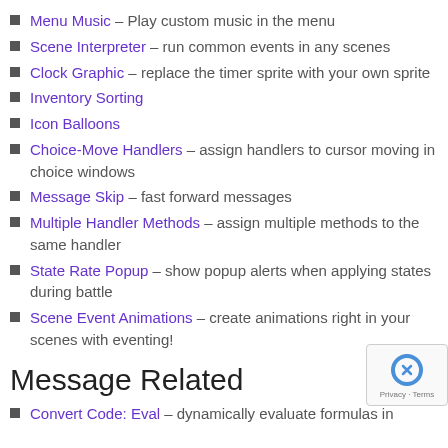Menu Music – Play custom music in the menu
Scene Interpreter – run common events in any scenes
Clock Graphic – replace the timer sprite with your own sprite
Inventory Sorting
Icon Balloons
Choice-Move Handlers – assign handlers to cursor moving in choice windows
Message Skip – fast forward messages
Multiple Handler Methods – assign multiple methods to the same handler
State Rate Popup – show popup alerts when applying states during battle
Scene Event Animations – create animations right in your scenes with eventing!
Message Related
Convert Code: Eval – dynamically evaluate formulas in